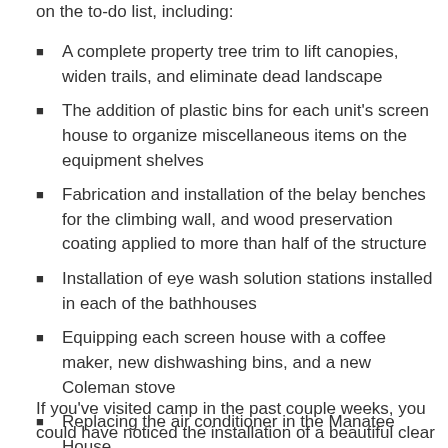on the to-do list, including:
A complete property tree trim to lift canopies, widen trails, and eliminate dead landscape
The addition of plastic bins for each unit's screen house to organize miscellaneous items on the equipment shelves
Fabrication and installation of the belay benches for the climbing wall, and wood preservation coating applied to more than half of the structure
Installation of eye wash solution stations installed in each of the bathhouses
Equipping each screen house with a coffee maker, new dishwashing bins, and a new Coleman stove
Replacing the air conditioner in the Manatee House
If you've visited camp in the past couple weeks, you could have noticed the installation of a beautiful clear